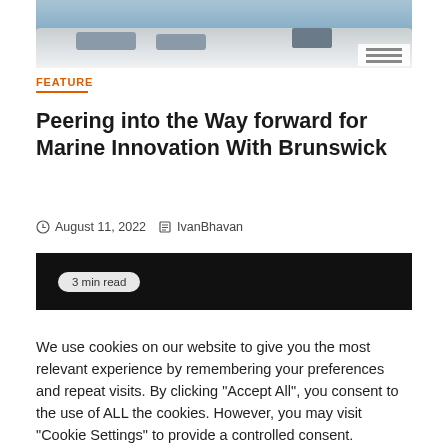[Figure (photo): Aerial/top-down view of a white motorboat on water, showing the deck, seats, and console]
FEATURE
Peering into the Way forward for Marine Innovation With Brunswick
August 11, 2022   IvanBhavan
[Figure (photo): Dark video thumbnail with '3 min read' badge]
We use cookies on our website to give you the most relevant experience by remembering your preferences and repeat visits. By clicking "Accept All", you consent to the use of ALL the cookies. However, you may visit "Cookie Settings" to provide a controlled consent.